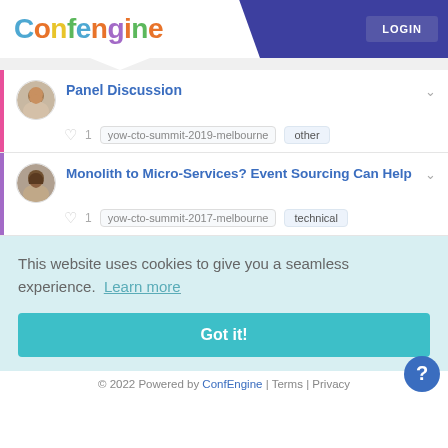Confengine | LOGIN
[Figure (screenshot): Session card 1: Panel Discussion with avatar, 1 like, yow-cto-summit-2019-melbourne, other tag]
[Figure (screenshot): Session card 2: Monolith to Micro-Services? Event Sourcing Can Help with avatar, 1 like, yow-cto-summit-2017-melbourne, technical tag]
This website uses cookies to give you a seamless experience.  Learn more
Got it!
© 2022 Powered by ConfEngine | Terms | Privacy